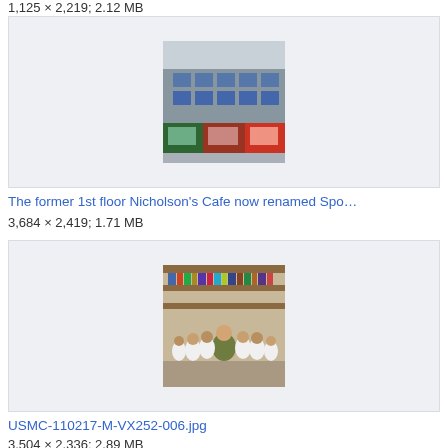1,125 × 2,219; 2.12 MB
[Figure (photo): Photograph of a street-level building facade with shops including a cafe, stone exterior, multiple storeys visible]
The former 1st floor Nicholson's Cafe now renamed Spo…
3,684 × 2,419; 1.71 MB
[Figure (photo): Photograph of a person in military camouflage uniform sitting with a group of children in a library setting]
USMC-110217-M-VX252-006.jpg
3,504 × 2,336; 2.89 MB